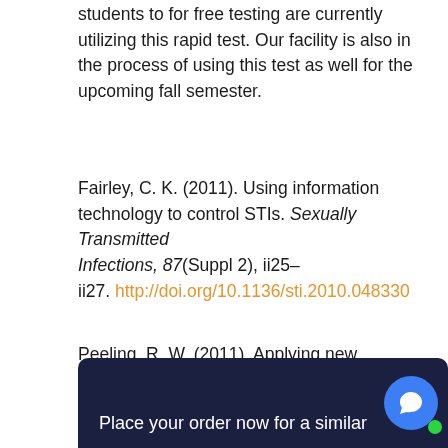students to for free testing are currently utilizing this rapid test. Our facility is also in the process of using this test as well for the upcoming fall semester.
Fairley, C. K. (2011). Using information technology to control STIs. Sexually Transmitted Infections, 87(Suppl 2), ii25–ii27. http://doi.org/10.1136/sti.2010.048330
Peeling, R. W. (2011). Applying new technologies for diagnosing sexually transmitted infections in resource-poor settings. Sexually Transmitted Infections, 87(Suppl 2), ii28–ii30. http://doi.org/10.1136/sti.2010.047647
Place your order now for a similar